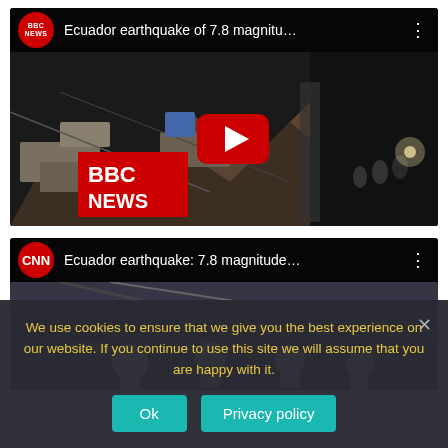[Figure (screenshot): BBC News YouTube video thumbnail showing earthquake damage in Ecuador with title 'Ecuador earthquake of 7.8 magnitu...']
[Figure (screenshot): CNN YouTube video thumbnail showing rescue workers at Ecuador earthquake with title 'Ecuador earthquake: 7.8 magnitude...']
We use cookies to ensure that we give you the best experience on our website. If you continue to use this site we will assume that you are happy with it.
Ok
Privacy policy